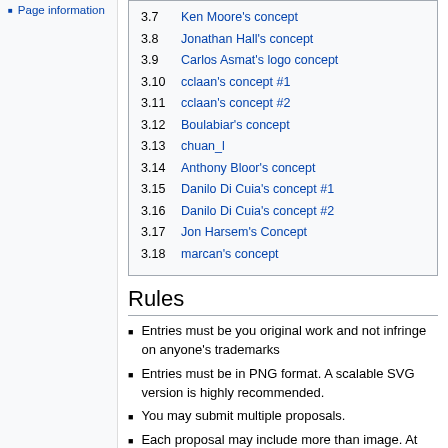Page information
3.7  Ken Moore's concept
3.8  Jonathan Hall's concept
3.9  Carlos Asmat's logo concept
3.10  cclaan's concept #1
3.11  cclaan's concept #2
3.12  Boulabiar's concept
3.13  chuan_l
3.14  Anthony Bloor's concept
3.15  Danilo Di Cuia's concept #1
3.16  Danilo Di Cuia's concept #2
3.17  Jon Harsem's Concept
3.18  marcan's concept
Rules
Entries must be you original work and not infringe on anyone's trademarks
Entries must be in PNG format. A scalable SVG version is highly recommended.
You may submit multiple proposals.
Each proposal may include more than image. At least one image must be have a width of 200 pixels and a height of between